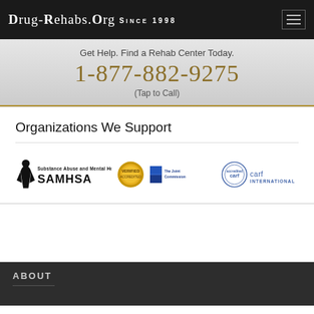Drug-Rehabs.org Since 1998
Get Help. Find a Rehab Center Today.
1-877-882-9275
(Tap to Call)
Organizations We Support
[Figure (logo): SAMHSA logo with gold seal, The Joint Commission logo, and CARF International logo]
ABOUT